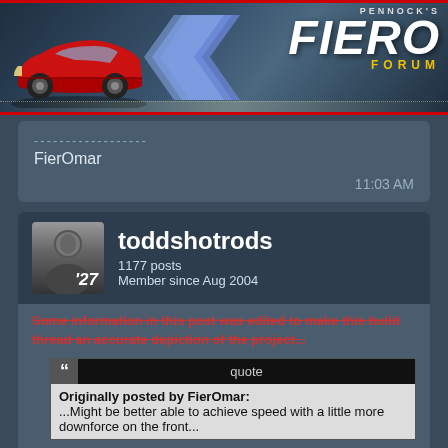[Figure (logo): Pennock's Fiero Forum banner with red sports car and logo]
FierOmar
11:03 AM
toddshotrods
1177 posts
Member since Aug 2004
Some information in this post was edited to make this build thread an accurate depiction of the project...
Originally posted by FierOmar:
...Might be better able to achieve speed with a little more downforce on the front...
Sorry the title is a bit misleading. I would definitely run it across the salt if the opporunity presented itself, but this one would be built to be driven daily on public roads. I and Grand Prix in depiction of the the The